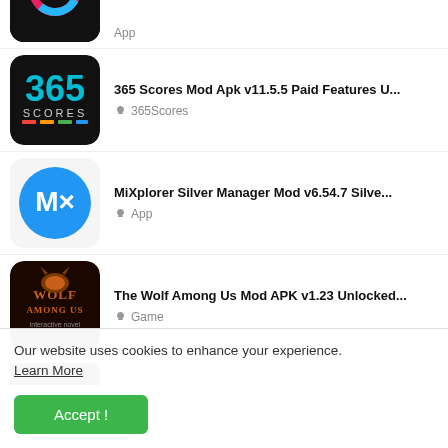[Figure (screenshot): Partial top app item with colorful logo on dark background]
365 Scores Mod Apk v11.5.5 Paid Features U... | 365Scores
MiXplorer Silver Manager Mod v6.54.7 Silve... | App
The Wolf Among Us Mod APK v1.23 Unlocked... | Game
Our website uses cookies to enhance your experience. Learn More
Accept !